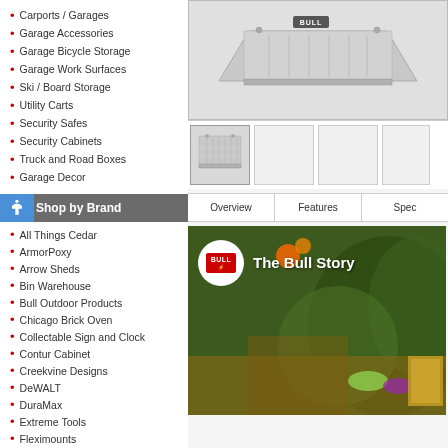Carports / Garages
Garage Accessories
Garage Bicycle Storage
Garage Work Surfaces
Ski / Board Storage
Utility Carts
Security Safes
Security Cabinets
Truck and Road Boxes
Garage Decor
Shop by Brand
All Things Cedar
ArmorPoxy
Arrow Sheds
Bin Warehouse
Bull Outdoor Products
Chicago Brick Oven
Collectable Sign and Clock
Contur Cabinet
Creekvine Designs
DeWALT
DuraMax
Extreme Tools
Fleximounts
[Figure (photo): Product image of Bull outdoor range hood, stainless steel, shown from below/side angle with BULL logo]
[Figure (photo): Product thumbnail showing front view of stainless steel range hood ventilation unit]
[Figure (screenshot): Navigation tabs: Overview, Features, Spec]
[Figure (photo): Video thumbnail showing outdoor kitchen setting with BULL logo circle and text 'The Bull Story']